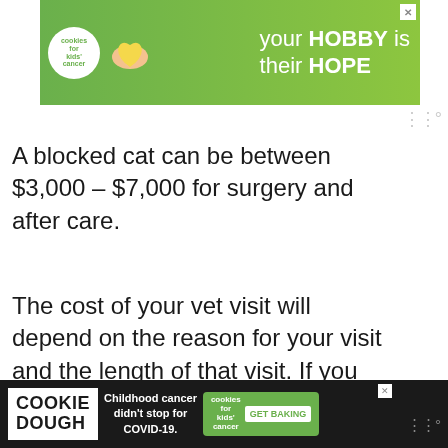[Figure (photo): Advertisement banner at top: green background with cookies for kids cancer logo (white circle), hands holding a heart, and text 'your HOBBY is their HOPE']
A blocked cat can be between $3,000 – $7,000 for surgery and after care.
The cost of your vet visit will depend on the reason for your visit and the length of that visit. If you have a dog for example that was hit by a car, your emergency veterinarian will most likely have them stay a few days and nights to be monitored. The constant care to save their life is what causes the price to increase.
[Figure (photo): Advertisement banner at bottom: dark background with COOKIE DOUGH text, 'Childhood cancer didn't stop for COVID-19.' and cookies for kids cancer logo with GET BAKING button]